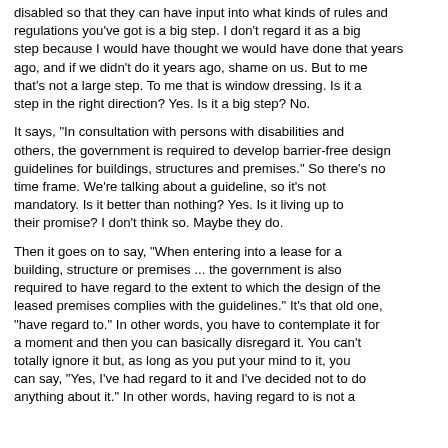disabled so that they can have input into what kinds of rules and regulations you've got is a big step. I don't regard it as a big step because I would have thought we would have done that years ago, and if we didn't do it years ago, shame on us. But to me that's not a large step. To me that is window dressing. Is it a step in the right direction? Yes. Is it a big step? No.
It says, "In consultation with persons with disabilities and others, the government is required to develop barrier-free design guidelines for buildings, structures and premises." So there's no time frame. We're talking about a guideline, so it's not mandatory. Is it better than nothing? Yes. Is it living up to their promise? I don't think so. Maybe they do.
Then it goes on to say, "When entering into a lease for a building, structure or premises ... the government is also required to have regard to the extent to which the design of the leased premises complies with the guidelines." It's that old one, "have regard to." In other words, you have to contemplate it for a moment and then you can basically disregard it. You can't totally ignore it but, as long as you put your mind to it, you can say, "Yes, I've had regard to it and I've decided not to do anything about it." In other words, having regard to is not a